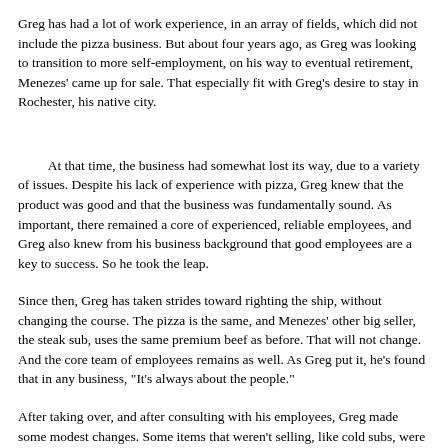Greg has had a lot of work experience, in an array of fields, which did not include the pizza business. But about four years ago, as Greg was looking to transition to more self-employment, on his way to eventual retirement, Menezes' came up for sale. That especially fit with Greg's desire to stay in Rochester, his native city.
At that time, the business had somewhat lost its way, due to a variety of issues. Despite his lack of experience with pizza, Greg knew that the product was good and that the business was fundamentally sound. As important, there remained a core of experienced, reliable employees, and Greg also knew from his business background that good employees are a key to success. So he took the leap.
Since then, Greg has taken strides toward righting the ship, without changing the course. The pizza is the same, and Menezes' other big seller, the steak sub, uses the same premium beef as before. That will not change. And the core team of employees remains as well. As Greg put it, he's found that in any business, "It's always about the people."
After taking over, and after consulting with his employees, Greg made some modest changes. Some items that weren't selling, like cold subs, were dropped, but others were added. Those include a